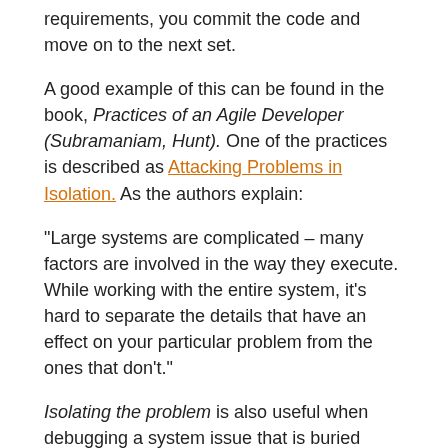requirements, you commit the code and move on to the next set.
A good example of this can be found in the book, Practices of an Agile Developer (Subramaniam, Hunt). One of the practices is described as Attacking Problems in Isolation. As the authors explain:
“Large systems are complicated – many factors are involved in the way they execute. While working with the entire system, it’s hard to separate the details that have an effect on your particular problem from the ones that don’t.”
Isolating the problem is also useful when debugging a system issue that is buried under layers of UI, database and middle-tier abstractions. Remove each layer until you’ve discovered the likely culprit. Or build a simple prototype and isolate the misbehaving module.
It’s easy to get overwhelmed by a complex system when trying to